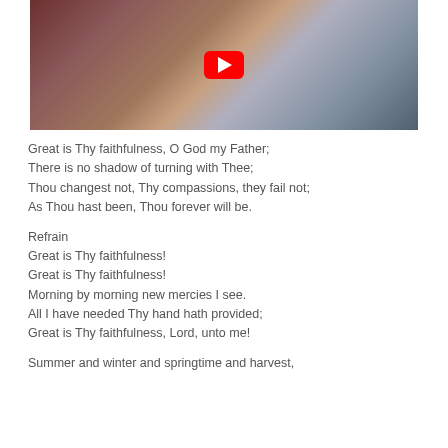[Figure (screenshot): YouTube video thumbnail showing a person playing a Hammond organ, with a red YouTube play button overlay in the center.]
Great is Thy faithfulness, O God my Father;
There is no shadow of turning with Thee;
Thou changest not, Thy compassions, they fail not;
As Thou hast been, Thou forever will be.
Refrain
Great is Thy faithfulness!
Great is Thy faithfulness!
Morning by morning new mercies I see.
All I have needed Thy hand hath provided;
Great is Thy faithfulness, Lord, unto me!
Summer and winter and springtime and harvest,